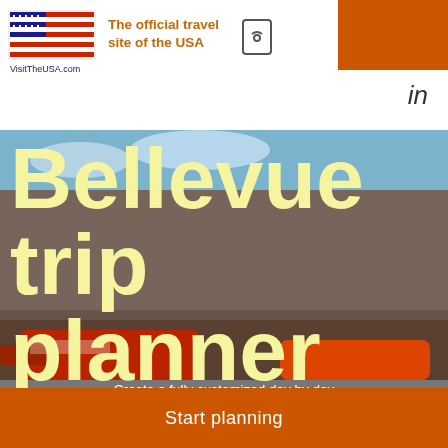VisitTheUSA.com — The official travel site of the USA
[Figure (logo): VisitTheUSA.com pixelated flag logo with text 'The official travel site of the USA' and a bookmark/heart icon]
[Figure (photo): Background photo of a crowded racing event grandstand with race cars, used as hero image behind the Bellevue trip planner title]
Bellevue trip planner
Create a fully customized day by day
Start planning